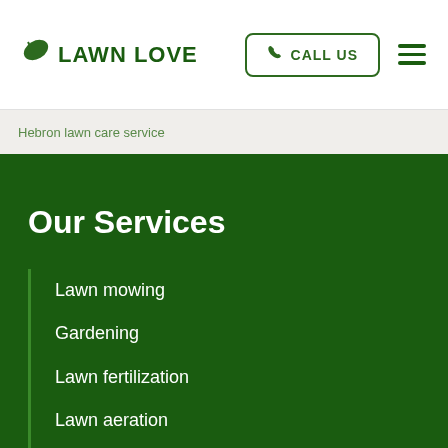LAWN LOVE | CALL US
Hebron lawn care service
Our Services
Lawn mowing
Gardening
Lawn fertilization
Lawn aeration
Weed control
Lawn seeding
Yard clean up